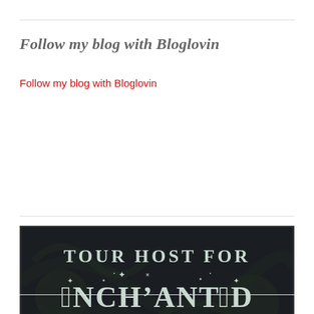Follow my blog with Bloglovin
Follow my blog with Bloglovin
[Figure (logo): Tour Host for Enchanted Book Promotions banner image with decorative dark floral background and stylized text]